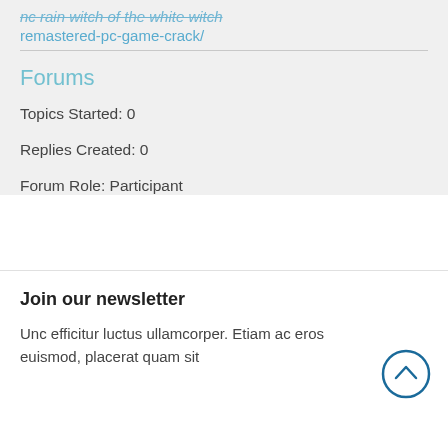remastered-pc-game-crack/
Forums
Topics Started: 0
Replies Created: 0
Forum Role: Participant
Join our newsletter
Unc efficitur luctus ullamcorper. Etiam ac eros euismod, placerat quam sit